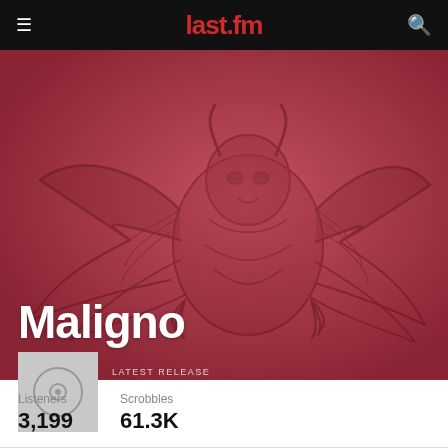last.fm
[Figure (illustration): Last.fm artist page hero banner with dark red/rose background featuring a faded demon illustration with wings and a horned creature]
Maligno
LATEST RELEASE
Cinto Amostra – Single
21 October 2021
Listeners
3,199
Scrobbles
61.3K